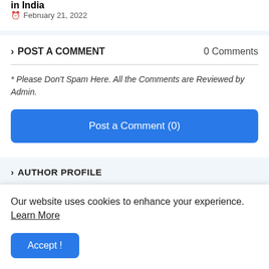in India
February 21, 2022
POST A COMMENT
0 Comments
* Please Don't Spam Here. All the Comments are Reviewed by Admin.
Post a Comment (0)
AUTHOR PROFILE
Our website uses cookies to enhance your experience. Learn More
Accept !